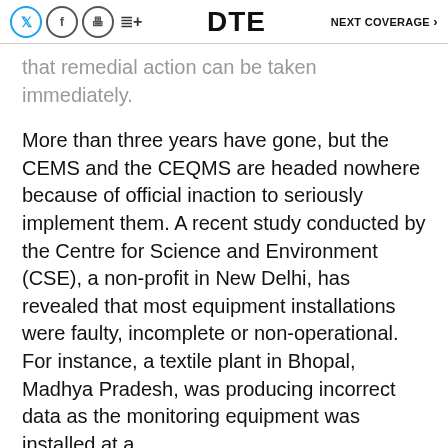DTE  NEXT COVERAGE
that remedial action can be taken immediately.
More than three years have gone, but the CEMS and the CEQMS are headed nowhere because of official inaction to seriously implement them. A recent study conducted by the Centre for Science and Environment (CSE), a non-profit in New Delhi, has revealed that most equipment installations were faulty, incomplete or non-operational. For instance, a textile plant in Bhopal, Madhya Pradesh, was producing incorrect data as the monitoring equipment was installed at a